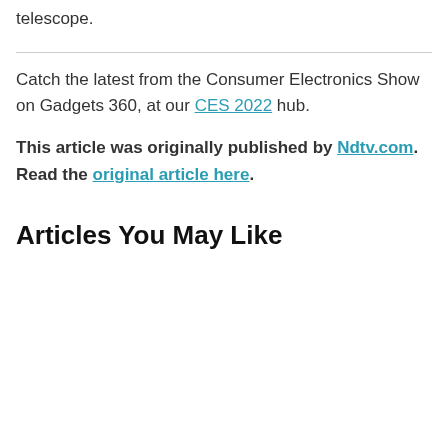telescope.
Catch the latest from the Consumer Electronics Show on Gadgets 360, at our CES 2022 hub.
This article was originally published by Ndtv.com. Read the original article here.
Articles You May Like